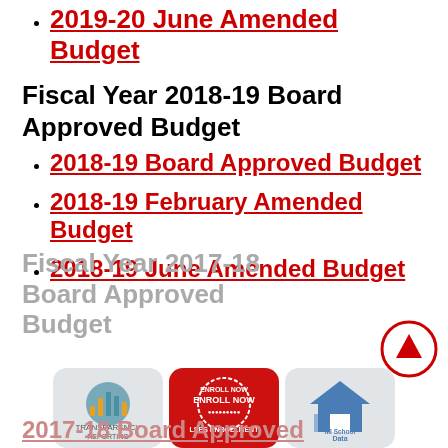2019-20 June Amended Budget
Fiscal Year 2018-19 Board Approved Budget
2018-19 Board Approved Budget
2018-19 February Amended Budget
2018-19 June Amended Budget
Fiscal Year 2017-18 Board Approved Budget
2017-18 Board Approved Budget